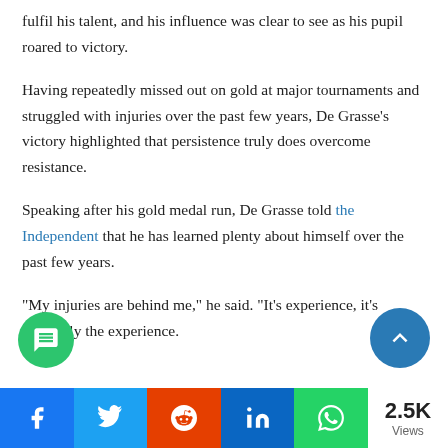fulfil his talent, and his influence was clear to see as his pupil roared to victory.
Having repeatedly missed out on gold at major tournaments and struggled with injuries over the past few years, De Grasse’s victory highlighted that persistence truly does overcome resistance.
Speaking after his gold medal run, De Grasse told the Independent that he has learned plenty about himself over the past few years.
“My injuries are behind me,” he said. “It’s experience, it’s definitely the experience.
2.5K Views — Share buttons: Facebook, Twitter, Reddit, LinkedIn, WhatsApp